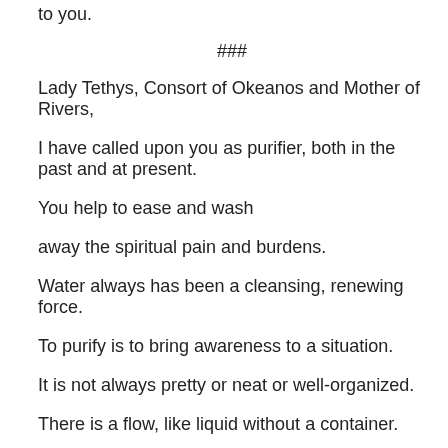to you.
###
Lady Tethys, Consort of Okeanos and Mother of Rivers,
I have called upon you as purifier, both in the past and at present.
You help to ease and wash
away the spiritual pain and burdens.
Water always has been a cleansing, renewing force.
To purify is to bring awareness to a situation.
It is not always pretty or neat or well-organized.
There is a flow, like liquid without a container.